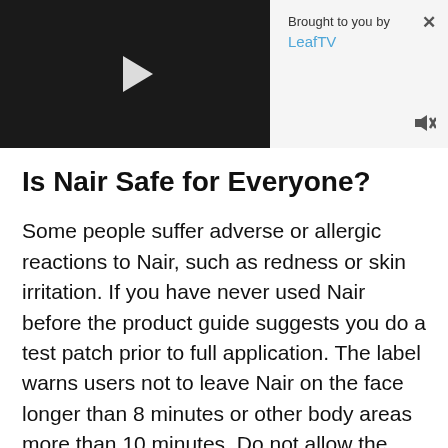[Figure (screenshot): Video player banner with dark left panel showing a play button, and a light right panel with 'Brought to you by LeafTV' text, a close (x) button, and a mute icon.]
Is Nair Safe for Everyone?
Some people suffer adverse or allergic reactions to Nair, such as redness or skin irritation. If you have never used Nair before the product guide suggests you do a test patch prior to full application. The label warns users not to leave Nair on the face longer than 8 minutes or other body areas more than 10 minutes. Do not allow the product to dry on the skin. If you need to repeat your Nair application, wait until a full 24 hours have passed. Do not use Nair on nipples, genitals, noses or ears. Nor should you apply it